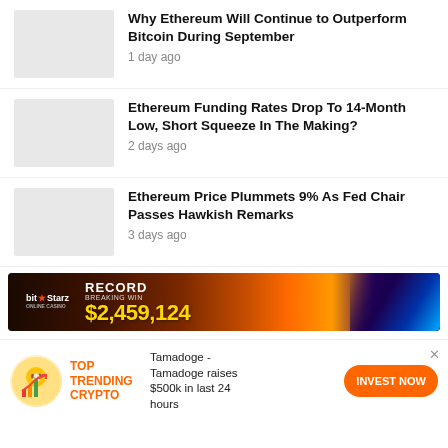Why Ethereum Will Continue to Outperform Bitcoin During September
1 day ago
Ethereum Funding Rates Drop To 14-Month Low, Short Squeeze In The Making?
2 days ago
Ethereum Price Plummets 9% As Fed Chair Passes Hawkish Remarks
3 days ago
[Figure (screenshot): BitStarz casino advertisement banner showing RECORD BREAKING WIN $2,459,124 with colorful imagery]
[Figure (infographic): Bottom promotional ad for Tamadoge: TOP TRENDING CRYPTO with coin icon and INVEST NOW button. Text: Tamadoge - Tamadoge raises $500k in last 24 hours]